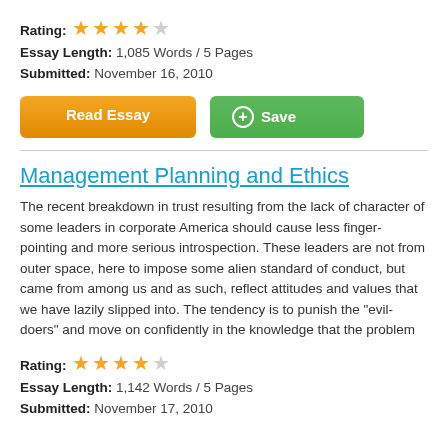Rating: 4 out of 5 stars
Essay Length: 1,085 Words / 5 Pages
Submitted: November 16, 2010
[Figure (other): Read Essay orange button and Save green button]
Management Planning and Ethics
The recent breakdown in trust resulting from the lack of character of some leaders in corporate America should cause less finger-pointing and more serious introspection. These leaders are not from outer space, here to impose some alien standard of conduct, but came from among us and as such, reflect attitudes and values that we have lazily slipped into. The tendency is to punish the "evil-doers" and move on confidently in the knowledge that the problem
Rating: 4 out of 5 stars
Essay Length: 1,142 Words / 5 Pages
Submitted: November 17, 2010